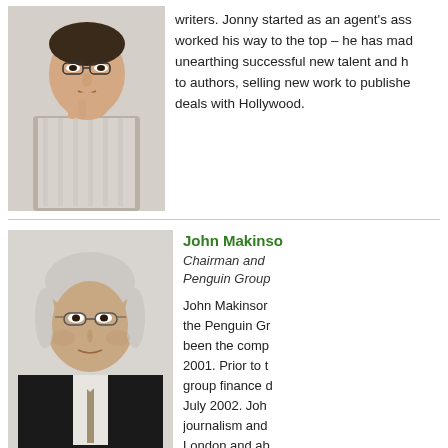[Figure (photo): Portrait photo of a man with glasses, resting his chin on his hand, wearing a striped shirt, seated in what appears to be an office setting.]
writers. Jonny started as an agent's ass worked his way to the top – he has mad unearthing successful new talent and h to authors, selling new work to publishe deals with Hollywood.
[Figure (photo): Professional portrait of John Makinson, a man with grey hair, wearing glasses and a dark suit with a tie.]
John Makinso
Chairman and Penguin Group
John Makinsor the Penguin Gr been the comp 2001. Prior to t group finance d July 2002. Joh journalism and London and ab